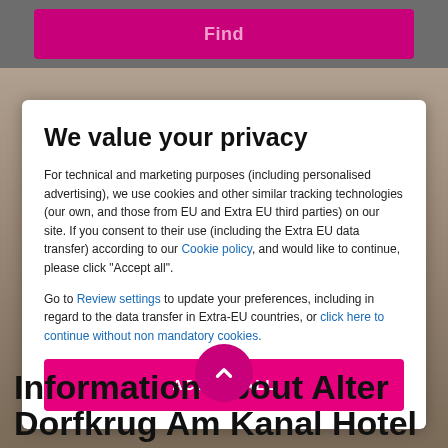[Figure (screenshot): Pink/magenta 'Find' button at the top of a hotel booking website]
We value your privacy
For technical and marketing purposes (including personalised advertising), we use cookies and other similar tracking technologies (our own, and those from EU and Extra EU third parties) on our site. If you consent to their use (including the Extra EU data transfer) according to our Cookie policy, and would like to continue, please click "Accept all".
Go to Review settings to update your preferences, including in regard to the data transfer in Extra-EU countries, or click here to continue without non mandatory cookies.
ACCEPT ALL
Information about Alter Dorfkrug Am Kanal Hotel